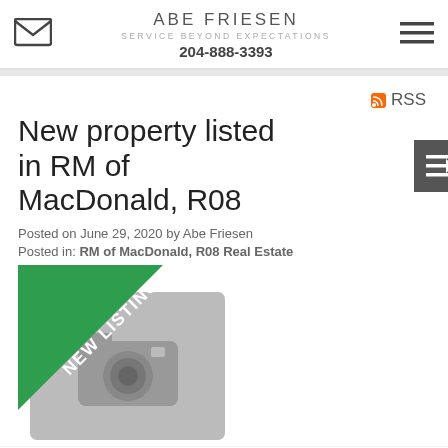ABE FRIESEN
SERVICE BEYOND EXPECTATIONS
204-888-3393
New property listed in RM of MacDonald, R08
Posted on June 29, 2020 by Abe Friesen
Posted in: RM of MacDonald, R08 Real Estate
[Figure (photo): New Listing placeholder image with camera icon and green diagonal ribbon banner saying NEW LISTING]
I have listed a new property at 50 Maclinch DR in La...